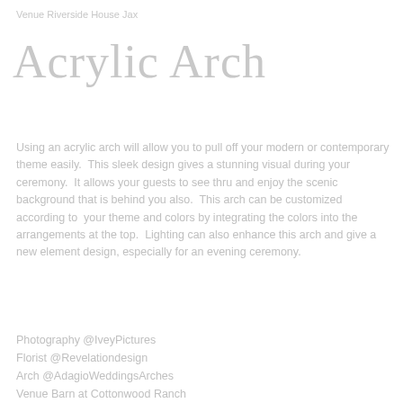Venue Riverside House Jax
Acrylic Arch
Using an acrylic arch will allow you to pull off your modern or contemporary theme easily.  This sleek design gives a stunning visual during your ceremony.  It allows your guests to see thru and enjoy the scenic background that is behind you also.  This arch can be customized according to  your theme and colors by integrating the colors into the arrangements at the top.  Lighting can also enhance this arch and give a new element design, especially for an evening ceremony.
Photography @IveyPictures
Florist @Revelationdesign
Arch @AdagioWeddingsArches
Venue Barn at Cottonwood Ranch